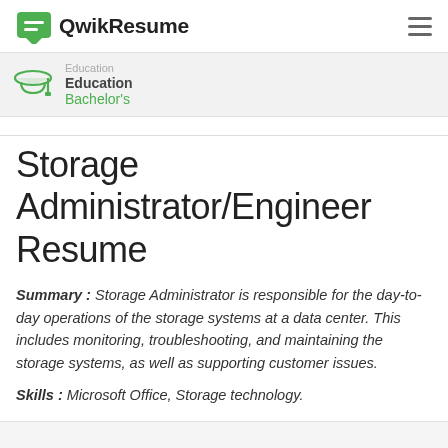QwikResume
Education
Bachelor's
Storage Administrator/Engineer Resume
Summary : Storage Administrator is responsible for the day-to-day operations of the storage systems at a data center. This includes monitoring, troubleshooting, and maintaining the storage systems, as well as supporting customer issues.
Skills : Microsoft Office, Storage technology.